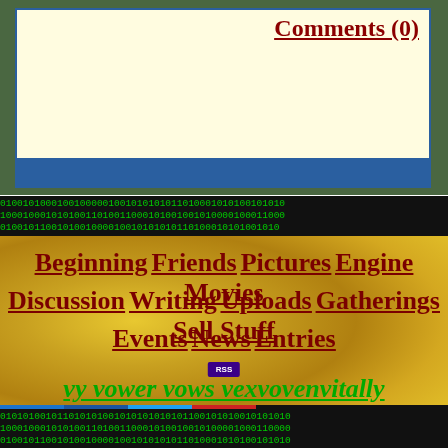Comments (0)
[Figure (other): RSS badge icon]
[Figure (other): Binary code strip with green 0s and 1s on dark background]
Beginning Friends Pictures Engine Movies
Discussion Writing Uploads Gatherings Sell Stuff
Events News Entries
[Figure (other): Small RSS badge button]
vy vower vows vexvovenvitally
[Figure (other): Social share buttons: Add (+), Facebook, Twitter, Email]
[Figure (other): Binary code strip with green 0s and 1s on dark background at bottom]